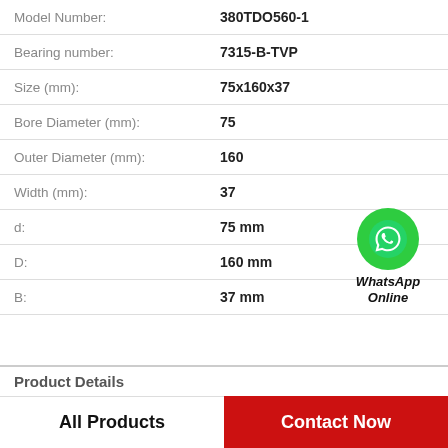| Property | Value |
| --- | --- |
| Model Number: | 380TDO560-1 |
| Bearing number: | 7315-B-TVP |
| Size (mm): | 75x160x37 |
| Bore Diameter (mm): | 75 |
| Outer Diameter (mm): | 160 |
| Width (mm): | 37 |
| d: | 75 mm |
| D: | 160 mm |
| B: | 37 mm |
[Figure (logo): WhatsApp green circle icon with phone handset, labeled WhatsApp Online]
Product Details
All Products
Contact Now